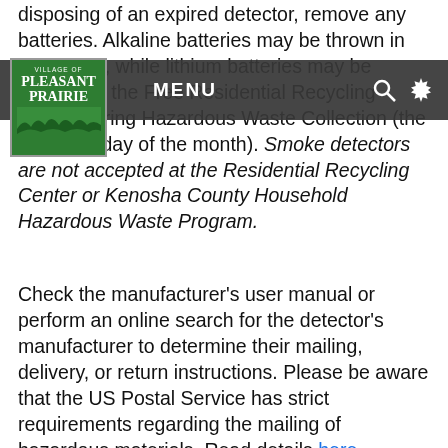disposing of an expired detector, remove any batteries. Alkaline batteries may be thrown in your trash, while lithium batteries may be brought to the Free Residential Recycling Center during Hazardous Waste Collection (the first Saturday of the month). Smoke detectors are not accepted at the Residential Recycling Center or Kenosha County Household Hazardous Waste Program.
[Figure (logo): Village of Pleasant Prairie logo — green background with text VILLAGE OF PLEASANT PRAIRIE and grass illustration]
Check the manufacturer's user manual or perform an online search for the detector's manufacturer to determine their mailing, delivery, or return instructions. Please be aware that the US Postal Service has strict requirements regarding the mailing of hazardous materials. Read details here.
How to Dispose of Carbon Monoxide Detectors
While carbon monoxide detectors do not contain radioactive material, they do contain circuit boards and platinum, both of which are worth recycling. Please recycle carbon monoxide detectors at the